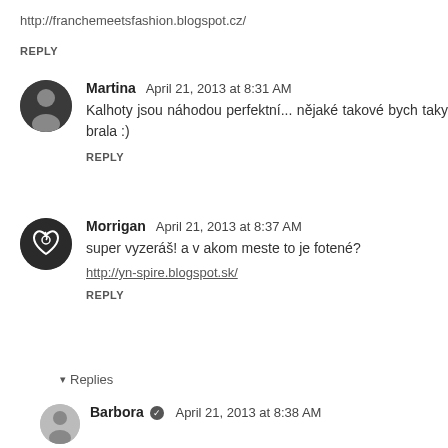http://franchemeetsfashion.blogspot.cz/
REPLY
Martina  April 21, 2013 at 8:31 AM
Kalhoty jsou náhodou perfektní... nějaké takové bych taky brala :)
REPLY
Morrigan  April 21, 2013 at 8:37 AM
super vyzeráš! a v akom meste to je fotené?
http://yn-spire.blogspot.sk/
REPLY
Replies
Barbora  April 21, 2013 at 8:38 AM